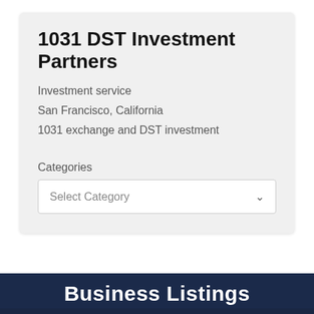1031 DST Investment Partners
Investment service
San Francisco, California
1031 exchange and DST investment
Categories
Select Category
Business Listings